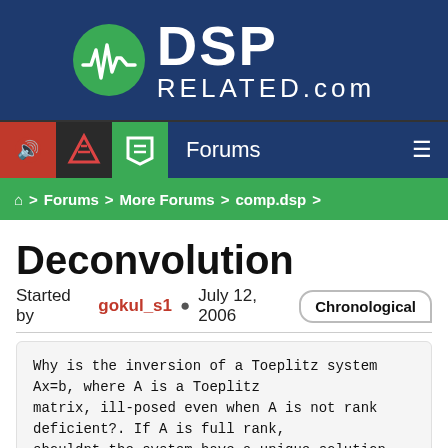[Figure (logo): DSPRelated.com logo with green circle containing waveform icon, white DSP text and RELATED.com text on dark blue background]
Forums navigation bar with icons and hamburger menu
Home > Forums > More Forums > comp.dsp >
Deconvolution
Started by gokul_s1 • July 12, 2006
Why is the inversion of a Toeplitz system Ax=b, where A is a Toeplitz matrix, ill-posed even when A is not rank deficient?. If A is full rank, shouldnt the system have a unique solution and not be affected by small